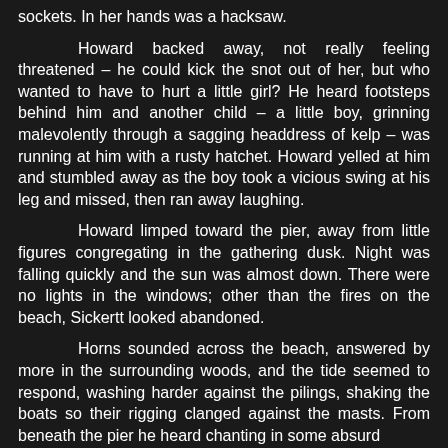sockets.  In her hands was a hacksaw.
Howard backed away, not really feeling threatened – he could kick the snot out of her, but who wanted to have to hurt a little girl?  He heard footsteps behind him and another child – a little boy, grinning malevolently through a sagging headdress of kelp – was running at him with a rusty hatchet.  Howard yelled at him and stumbled away as the boy took a vicious swing at his leg and missed, then ran away laughing.
Howard limped toward the pier, away from little figures congregating in the gathering dusk.  Night was falling quickly and the sun was almost down.  There were no lights in the windows; other than the fires on the beach, Sickertt looked abandoned.
Horns sounded across the beach, answered by more in the surrounding woods, and the tide seemed to respond, washing harder against the pilings, shaking the boats so their rigging clanged against the masts.  From beneath the pier he heard chanting in some absurd